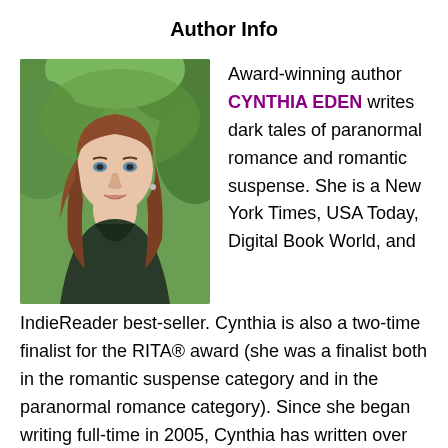Author Info
[Figure (photo): Headshot of Cynthia Eden, a woman with long reddish-brown hair, wearing a dark sleeveless top, photographed outdoors with green foliage in the background.]
Award-winning author CYNTHIA EDEN writes dark tales of paranormal romance and romantic suspense. She is a New York Times, USA Today, Digital Book World, and IndieReader best-seller. Cynthia is also a two-time finalist for the RITA® award (she was a finalist both in the romantic suspense category and in the paranormal romance category). Since she began writing full-time in 2005, Cynthia has written over